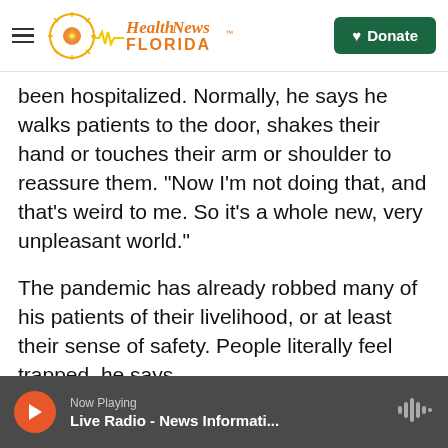Health News Florida
been hospitalized. Normally, he says he walks patients to the door, shakes their hand or touches their arm or shoulder to reassure them. "Now I'm not doing that, and that's weird to me. So it's a whole new, very unpleasant world."
The pandemic has already robbed many of his patients of their livelihood, or at least their sense of safety. People literally feel trapped, he says.
That, in turn, is leading to a spike in anxiety, depression and addiction — not just among Muskin's patients, but across the U.S. To try to address these needs, physicians of all kinds are
Now Playing
Live Radio - News Informati...